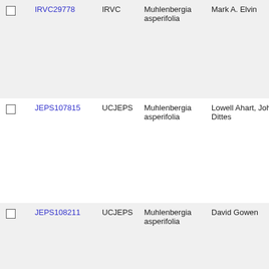|  | ID | Source | Species | Collector | Number |
| --- | --- | --- | --- | --- | --- |
| ☐ | IRVC29778 | IRVC | Muhlenbergia asperifolia | Mark A. Elvin | 5288 |
| ☐ | JEPS107815 | UCJEPS | Muhlenbergia asperifolia | Lowell Ahart, John Dittes | 11972 |
| ☐ | JEPS108211 | UCJEPS | Muhlenbergia asperifolia | David Gowen | 522 |